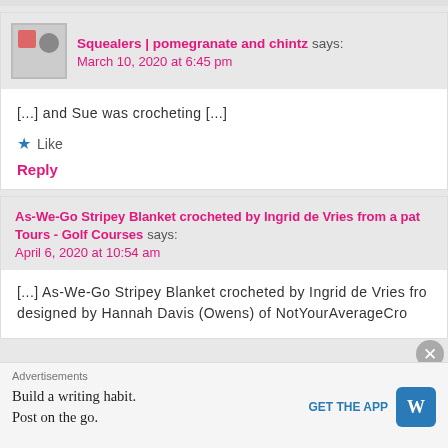Squealers | pomegranate and chintz says: March 10, 2020 at 6:45 pm
[...] and Sue was crocheting [...]
Like
Reply
As-We-Go Stripey Blanket crocheted by Ingrid de Vries from a pat Tours - Golf Courses says: April 6, 2020 at 10:54 am
[...] As-We-Go Stripey Blanket crocheted by Ingrid de Vries fro designed by Hannah Davis (Owens) of NotYourAverageCro
Advertisements
Build a writing habit.
Post on the go.
GET THE APP